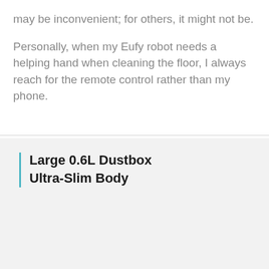may be inconvenient; for others, it might not be.
Personally, when my Eufy robot needs a helping hand when cleaning the floor, I always reach for the remote control rather than my phone.
[Figure (photo): Product image of an Eufy robot vacuum's large 0.6L dustbox open and filled with colorful M&M candies, with label 'Large 0.6L Dustbox Ultra-Slim Body' and a blue vertical bar accent]